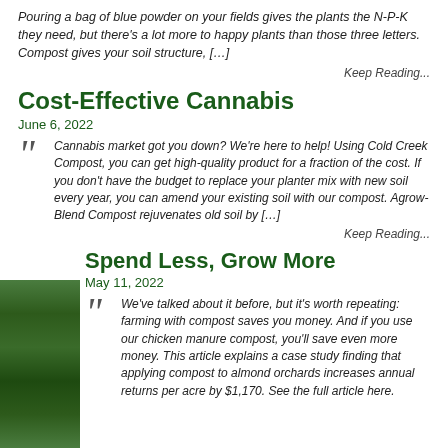Pouring a bag of blue powder on your fields gives the plants the N-P-K they need, but there's a lot more to happy plants than those three letters. Compost gives your soil structure, […]
Keep Reading...
Cost-Effective Cannabis
June 6, 2022
Cannabis market got you down? We're here to help! Using Cold Creek Compost, you can get high-quality product for a fraction of the cost. If you don't have the budget to replace your planter mix with new soil every year, you can amend your existing soil with our compost. Agrow-Blend Compost rejuvenates old soil by […]
Keep Reading...
Spend Less, Grow More
May 11, 2022
We've talked about it before, but it's worth repeating: farming with compost saves you money. And if you use our chicken manure compost, you'll save even more money. This article explains a case study finding that applying compost to almond orchards increases annual returns per acre by $1,170. See the full article here.